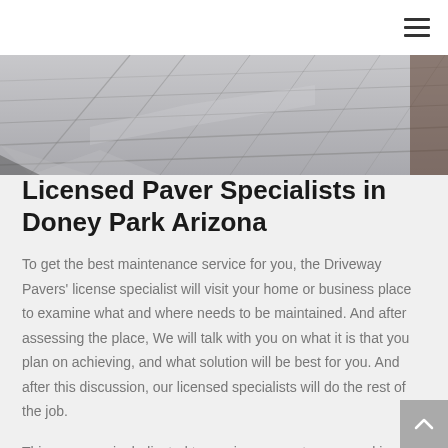Navigation menu (hamburger icon)
[Figure (photo): Aerial/perspective view of light grey tiled pavement/paver stones in dark tones, partially cropped.]
Licensed Paver Specialists in Doney Park Arizona
To get the best maintenance service for you, the Driveway Pavers' license specialist will visit your home or business place to examine what and where needs to be maintained. And after assessing the place, We will talk with you on what it is that you plan on achieving, and what solution will be best for you. And after this discussion, our licensed specialists will do the rest of the job.
This company is dedicated to serving our customers, making sure that We set the best performance our service is going to...